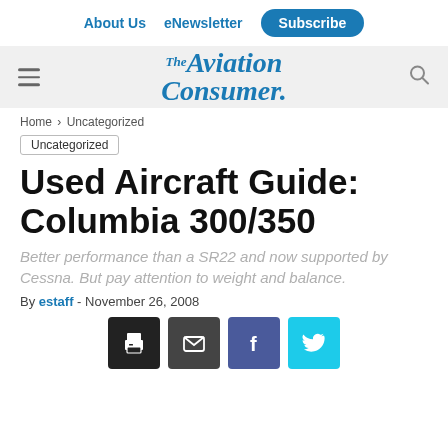About Us  eNewsletter  Subscribe
[Figure (logo): The Aviation Consumer logo in blue serif italic font]
Home > Uncategorized
Uncategorized
Used Aircraft Guide: Columbia 300/350
Better performance than a SR22 and now supported by Cessna. But pay attention to weight and balance.
By estaff - November 26, 2008